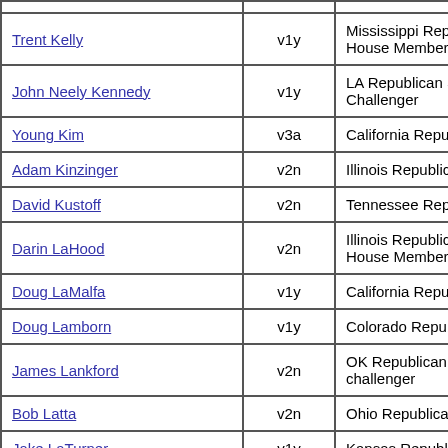| Name | Code | Description |
| --- | --- | --- |
| Trent Kelly | v1y | Mississippi Republican House Member |
| John Neely Kennedy | v1y | LA Republican Senate Challenger |
| Young Kim | v3a | California Republican |
| Adam Kinzinger | v2n | Illinois Republican |
| David Kustoff | v2n | Tennessee Republican |
| Darin LaHood | v2n | Illinois Republican House Member |
| Doug LaMalfa | v1y | California Republican |
| Doug Lamborn | v1y | Colorado Republican |
| James Lankford | v2n | OK Republican Senate challenger |
| Bob Latta | v2n | Ohio Republican |
| Jake LaTurner | v1y | Kansas Republican |